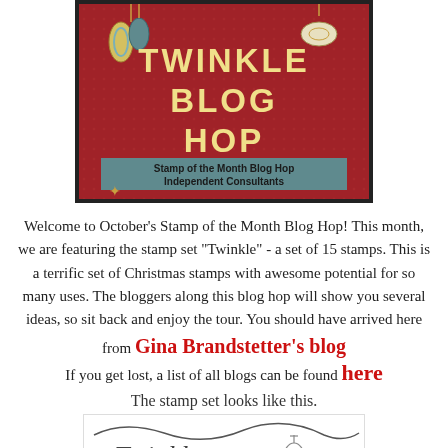[Figure (illustration): Twinkle Blog Hop banner image on red dotted background with ornament decorations, yellow text reading TWINKLE BLOG HOP, and a teal box reading 'Stamp of the Month Blog Hop Independent Consultants']
Welcome to October's Stamp of the Month Blog Hop! This month, we are featuring the stamp set "Twinkle" - a set of 15 stamps. This is a terrific set of Christmas stamps with awesome potential for so many uses. The bloggers along this blog hop will show you several ideas, so sit back and enjoy the tour. You should have arrived here
from Gina Brandstetter's blog
If you get lost, a list of all blogs can be found here
The stamp set looks like this.
[Figure (illustration): Partial view of the Twinkle stamp set showing decorative script and ornament stamps]